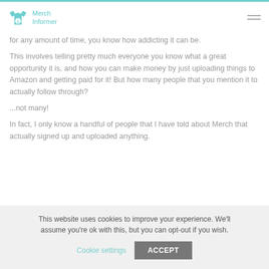Merch Informer
for any amount of time, you know how addicting it can be.
This involves telling pretty much everyone you know what a great opportunity it is, and how you can make money by just uploading things to Amazon and getting paid for it! But how many people that you mention it to actually follow through?
...not many!
In fact, I only know a handful of people that I have told about Merch that actually signed up and uploaded anything.
This website uses cookies to improve your experience. We'll assume you're ok with this, but you can opt-out if you wish.
Cookie settings   ACCEPT